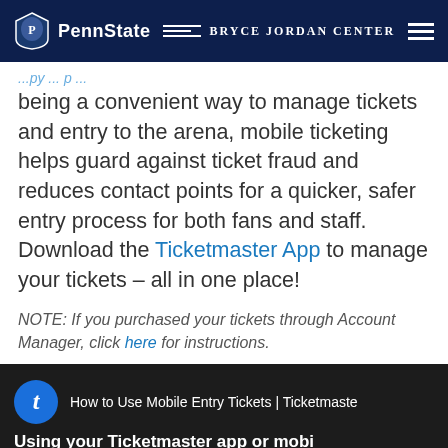PennState | Bryce Jordan Center
being a convenient way to manage tickets and entry to the arena, mobile ticketing helps guard against ticket fraud and reduces contact points for a quicker, safer entry process for both fans and staff. Download the Ticketmaster App to manage your tickets – all in one place!
NOTE: If you purchased your tickets through Account Manager, click here for instructions.
[Figure (screenshot): Video thumbnail for 'How to Use Mobile Entry Tickets | Ticketmaster' showing Ticketmaster app icon and text 'Using your Ticketmaster app or mobi...']